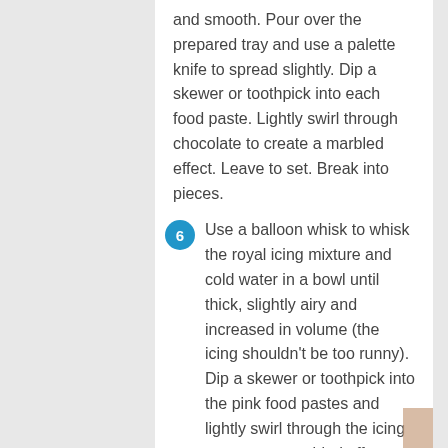and smooth. Pour over the prepared tray and use a palette knife to spread slightly. Dip a skewer or toothpick into each food paste. Lightly swirl through chocolate to create a marbled effect. Leave to set. Break into pieces.
6 Use a balloon whisk to whisk the royal icing mixture and cold water in a bowl until thick, slightly airy and increased in volume (the icing shouldn't be too runny). Dip a skewer or toothpick into the pink food pastes and lightly swirl through the icing to create a marbled effect. Repeat with a clean skewer or toothpick and the purple food pastes (see opposite). Place the cake on a wire rack over a baking tray. Carefully pour the icing over the cake